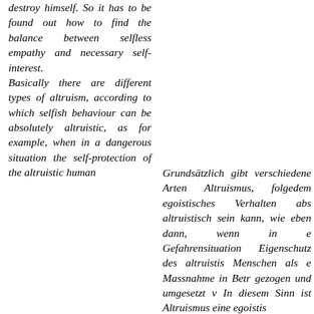destroy himself. So it has to be found out how to find the balance between selfless empathy and necessary self-interest.
Basically there are different types of altruism, according to which selfish behaviour can be absolutely altruistic, as for example, when in a dangerous situation the self-protection of the altruistic human
Grundsätzlich gibt verschiedene Arten Altruismus, folgedem egoistisches Verhalten abs altruistisch sein kann, wie eben dann, wenn in e Gefahrensituation Eigenschutz des altruistis Menschen als e Massnahme in Betr gezogen und umgesetzt v In diesem Sinn ist Altruismus eine egoistis